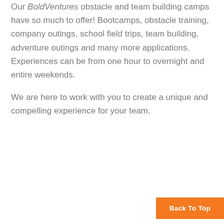Our BoldVentures obstacle and team building camps have so much to offer! Bootcamps, obstacle training, company outings, school field trips, team building, adventure outings and many more applications. Experiences can be from one hour to overnight and entire weekends.

We are here to work with you to create a unique and compelling experience for your team.
Back To Top